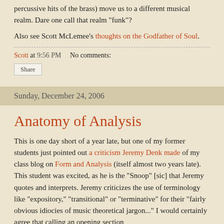percussive hits of the brass) move us to a different musical realm. Dare one call that realm "funk"?
Also see Scott McLemee's thoughts on the Godfather of Soul.
Scott at 9:56 PM    No comments:
Share
Sunday, December 24, 2006
Anatomy of Analysis
This is one day short of a year late, but one of my former students just pointed out a criticism Jeremy Denk made of my class blog on Form and Analysis (itself almost two years late). This student was excited, as he is the "Snoop" [sic] that Jeremy quotes and interprets. Jeremy criticizes the use of terminology like "expository," "transitional" or "terminative" for their "fairly obvious idiocies of music theoretical jargon..." I would certainly agree that calling an opening section